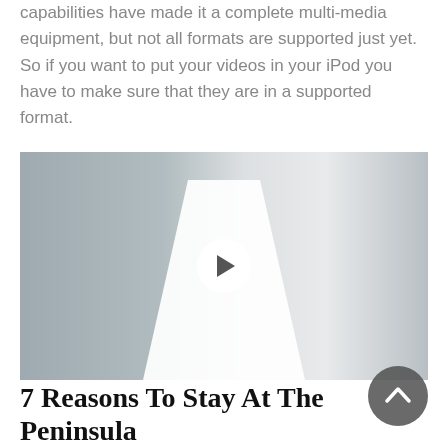capabilities have made it a complete multi-media equipment, but not all formats are supported just yet. So if you want to put your videos in your iPod you have to make sure that they are in a supported format.
[Figure (photo): A woman in a white dress holding an iced coffee drink, with a cartoon-style handbag, standing against a gray concrete wall. The image has a video play button overlay in the center.]
7 Reasons To Stay At The Peninsula